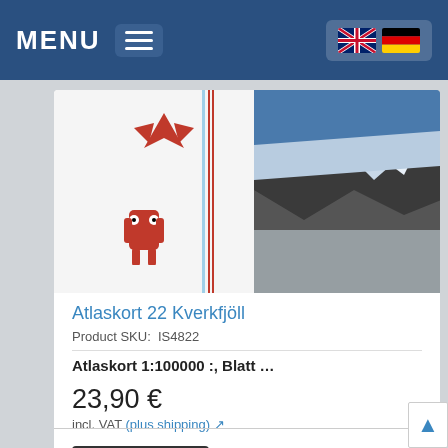MENU
[Figure (screenshot): Product image showing a map cover with a red bird logo on left side and a mountain/glacier landscape photo on right side. Atlaskort Iceland map product image.]
Atlaskort 22 Kverkfjöll
Product SKU:  IS4822
Atlaskort 1:100000 :, Blatt …
23,90 €
incl. VAT (plus shipping)
Add to Cart